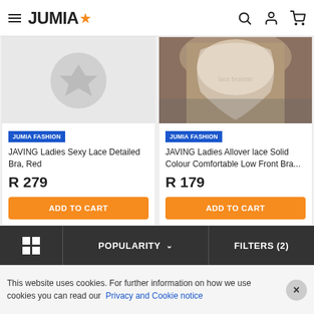JUMIA (logo with star)
[Figure (photo): Left product: gray placeholder with Jumia star icon, no product image visible]
[Figure (photo): Right product: white lace bralette worn by a model, close-up photo on gray background]
JUMIA FASHION
JAVING Ladies Sexy Lace Detailed Bra, Red
R 279
ADD TO CART
JUMIA FASHION
JAVING Ladies Allover lace Solid Colour Comfortable Low Front Bra...
R 179
ADD TO CART
POPULARITY  FILTERS (2)
This website uses cookies. For further information on how we use cookies you can read our Privacy and Cookie notice